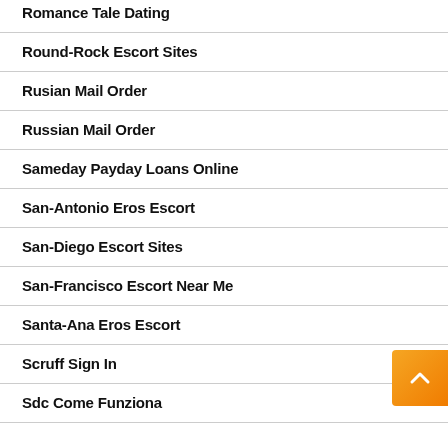Romance Tale Dating
Round-Rock Escort Sites
Rusian Mail Order
Russian Mail Order
Sameday Payday Loans Online
San-Antonio Eros Escort
San-Diego Escort Sites
San-Francisco Escort Near Me
Santa-Ana Eros Escort
Scruff Sign In
Sdc Come Funziona